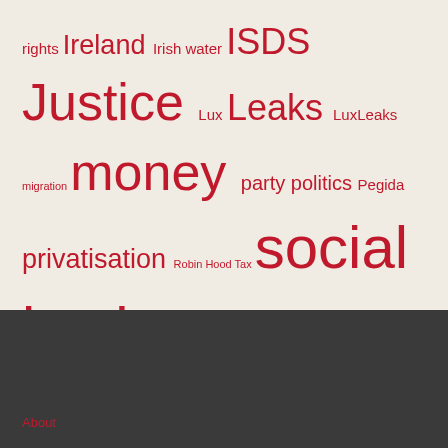[Figure (infographic): A tag cloud / word cloud showing various political and social justice topics in different font sizes, all in red on a light beige background. Terms include: rights, Ireland, Irish water, ISDS, Justice, Lux Leaks, LuxLeaks, migration, money, party, politics, Pegida, privatisation, Robin Hood Tax, social justice, Solidarity, Greece, Tax, tax havens, tax heavens, Tax Justice, TISA, Trade, trade agreements, Trade Justice, Transaction, TTIP, water.]
About